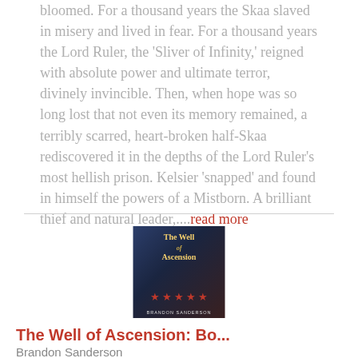bloomed. For a thousand years the Skaa slaved in misery and lived in fear. For a thousand years the Lord Ruler, the 'Sliver of Infinity,' reigned with absolute power and ultimate terror, divinely invincible. Then, when hope was so long lost that not even its memory remained, a terribly scarred, heart-broken half-Skaa rediscovered it in the depths of the Lord Ruler's most hellish prison. Kelsier 'snapped' and found in himself the powers of a Mistborn. A brilliant thief and natural leader,....read more
[Figure (illustration): Book cover of 'The Well of Ascension' by Brandon Sanderson, showing a dark fantasy scene with red stars at the bottom]
The Well of Ascension: Bo...
Brandon Sanderson